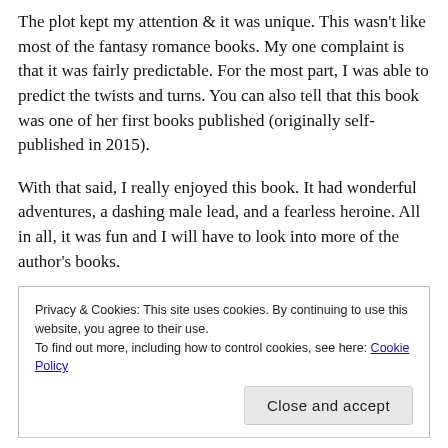The plot kept my attention & it was unique. This wasn't like most of the fantasy romance books. My one complaint is that it was fairly predictable. For the most part, I was able to predict the twists and turns. You can also tell that this book was one of her first books published (originally self-published in 2015).
With that said, I really enjoyed this book. It had wonderful adventures, a dashing male lead, and a fearless heroine. All in all, it was fun and I will have to look into more of the author's books.
Privacy & Cookies: This site uses cookies. By continuing to use this website, you agree to their use. To find out more, including how to control cookies, see here: Cookie Policy